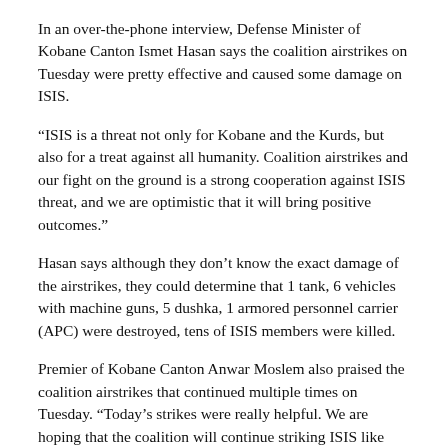In an over-the-phone interview, Defense Minister of Kobane Canton Ismet Hasan says the coalition airstrikes on Tuesday were pretty effective and caused some damage on ISIS.
“ISIS is a threat not only for Kobane and the Kurds, but also for a treat against all humanity. Coalition airstrikes and our fight on the ground is a strong cooperation against ISIS threat, and we are optimistic that it will bring positive outcomes.”
Hasan says although they don’t know the exact damage of the airstrikes, they could determine that 1 tank, 6 vehicles with machine guns, 5 dushka, 1 armored personnel carrier (APC) were destroyed, tens of ISIS members were killed.
Premier of Kobane Canton Anwar Moslem also praised the coalition airstrikes that continued multiple times on Tuesday. “Today’s strikes were really helpful. We are hoping that the coalition will continue striking ISIS like this.”
Moslem pointed out that the coalition should continue